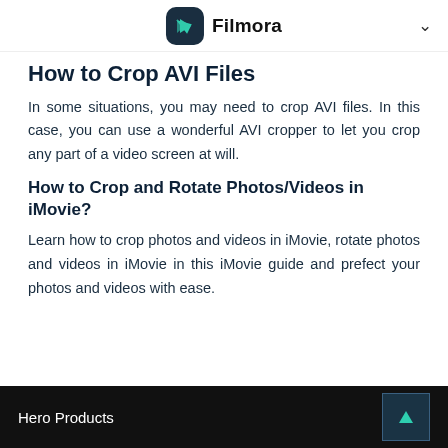Filmora
How to Crop AVI Files
In some situations, you may need to crop AVI files. In this case, you can use a wonderful AVI cropper to let you crop any part of a video screen at will.
How to Crop and Rotate Photos/Videos in iMovie?
Learn how to crop photos and videos in iMovie, rotate photos and videos in iMovie in this iMovie guide and prefect your photos and videos with ease.
Hero Products